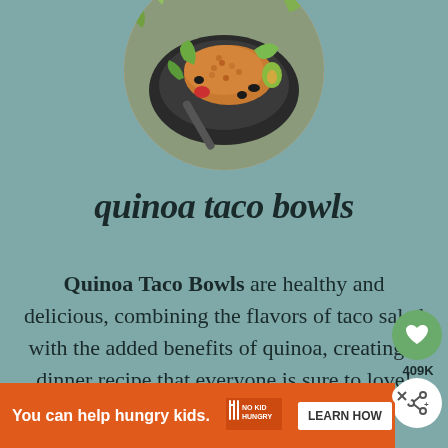[Figure (photo): Circular cropped photo of a quinoa taco bowl with colorful toppings including beans, tomatoes, lettuce, and avocado in a dark bowl with a spoon]
quinoa taco bowls
Quinoa Taco Bowls are healthy and delicious, combining the flavors of taco salad with the added benefits of quinoa, creating a dinner recipe that everyone is sure to love!
409K
You can help hungry kids. NO KID HUNGRY LEARN HOW